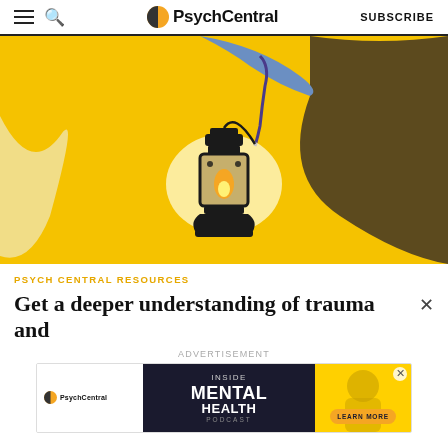PsychCentral | SUBSCRIBE
[Figure (illustration): Illustration of a person holding a glowing lantern against a yellow background with abstract blue and cream shapes.]
PSYCH CENTRAL RESOURCES
Get a deeper understanding of trauma and
ADVERTISEMENT
[Figure (screenshot): PsychCentral advertisement banner for Inside Mental Health Podcast with a Learn More button.]